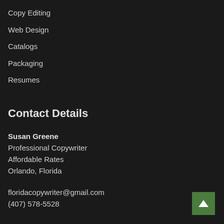Copy Editing
Web Design
Catalogs
Packaging
Resumes
Contact Details
Susan Greene
Professional Copywriter
Affordable Rates
Orlando, Florida
floridacopywriter@gmail.com
(407) 578-5528